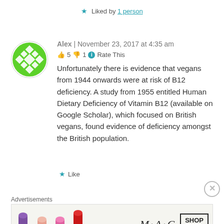★ Liked by 1 person
Alex | November 23, 2017 at 4:35 am
👍 5 👎 1 ℹ Rate This
Unfortunately there is evidence that vegans from 1944 onwards were at risk of B12 deficiency. A study from 1955 entitled Human Dietary Deficiency of Vitamin B12 (available on Google Scholar), which focused on British vegans, found evidence of deficiency amongst the British population.
★ Like
Advertisements
[Figure (photo): MAC cosmetics advertisement showing lipsticks and MAC logo with SHOP NOW button]